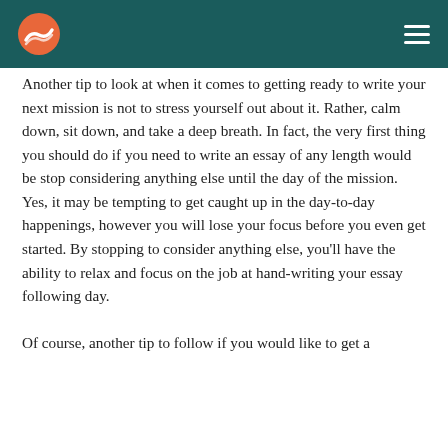Another tip to look at when it comes to getting ready to write your next mission is not to stress yourself out about it. Rather, calm down, sit down, and take a deep breath. In fact, the very first thing you should do if you need to write an essay of any length would be stop considering anything else until the day of the mission. Yes, it may be tempting to get caught up in the day-to-day happenings, however you will lose your focus before you even get started. By stopping to consider anything else, you’ll have the ability to relax and focus on the job at hand-writing your essay following day.
Of course, another tip to follow if you would like to get a